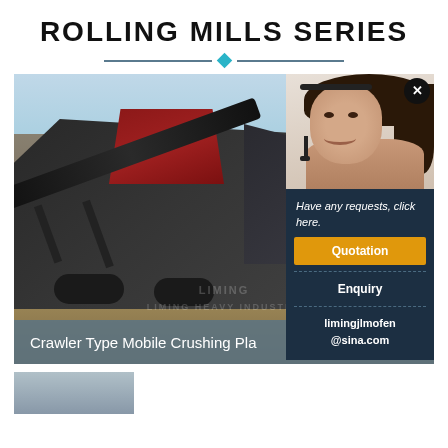ROLLING MILLS SERIES
[Figure (photo): Crawler Type Mobile Crushing Plant machinery on a construction/mining site with dirt mounds, with a watermark reading LIMING HEAVY INDUSTRY]
Crawler Type Mobile Crushing Pla
[Figure (photo): Customer service representative woman with headset smiling, overlaid on popup panel with request options]
Have any requests, click here.
Quotation
Enquiry
limingjlmofen@sina.com
[Figure (photo): Partial bottom image of industrial machinery]